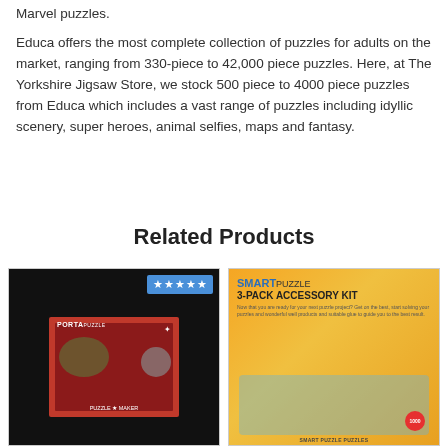Marvel puzzles.
Educa offers the most complete collection of puzzles for adults on the market, ranging from 330-piece to 42,000 piece puzzles. Here, at The Yorkshire Jigsaw Store, we stock 500 piece to 4000 piece puzzles from Educa which includes a vast range of puzzles including idyllic scenery, super heroes, animal selfies, maps and fantasy.
Related Products
[Figure (photo): Product image of a Portapuzzle board with star rating badge showing 5 stars on blue background, product box shown in red with puzzle images]
[Figure (photo): Product image of Smart Puzzle 3-Pack Accessory Kit in yellow/orange box showing puzzle mat, roll and accessories]